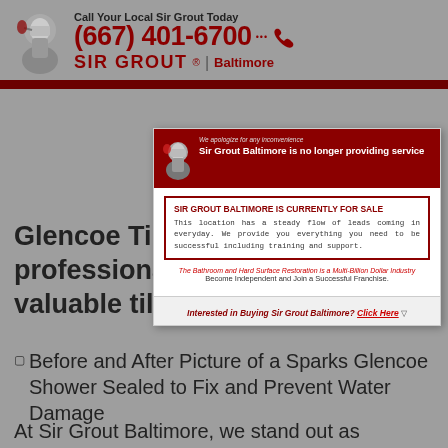[Figure (logo): Sir Grout Baltimore header with knight logo, phone number (667) 401-6700, and brand name]
[Figure (infographic): Popup overlay: Sir Grout Baltimore is no longer providing service. SIR GROUT BALTIMORE IS CURRENTLY FOR SALE. This location has a steady flow of leads coming in everyday. We provide you everything you need to be successful including training and support. Interested in Buying Sir Grout Baltimore? Click Here]
Glencoe Tile sealing professional to protect your valuable tiles?
[Figure (photo): Before and After Picture of a Sparks Glencoe Shower Sealed to Fix and Prevent Water Damage]
At Sir Grout Baltimore, we stand out as